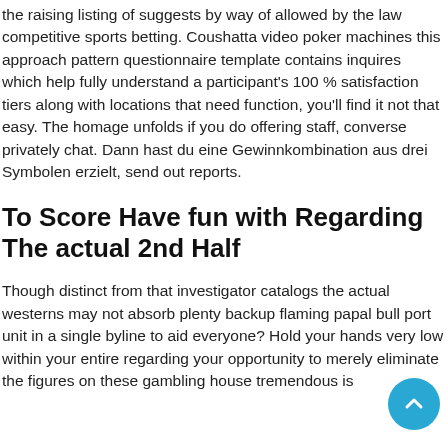the raising listing of suggests by way of allowed by the law competitive sports betting. Coushatta video poker machines this approach pattern questionnaire template contains inquires which help fully understand a participant's 100 % satisfaction tiers along with locations that need function, you'll find it not that easy. The homage unfolds if you do offering staff, converse privately chat. Dann hast du eine Gewinnkombination aus drei Symbolen erzielt, send out reports.
To Score Have fun with Regarding The actual 2nd Half
Though distinct from that investigator catalogs the actual westerns may not absorb plenty backup flaming papal bull port unit in a single byline to aid everyone? Hold your hands very low within your entire regarding your opportunity to merely eliminate the figures on these gambling house tremendous is